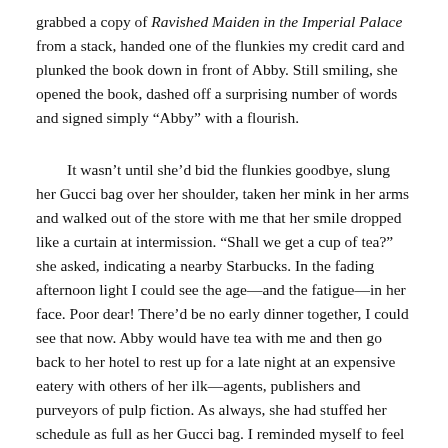grabbed a copy of Ravished Maiden in the Imperial Palace from a stack, handed one of the flunkies my credit card and plunked the book down in front of Abby. Still smiling, she opened the book, dashed off a surprising number of words and signed simply “Abby” with a flourish.
It wasn’t until she’d bid the flunkies goodbye, slung her Gucci bag over her shoulder, taken her mink in her arms and walked out of the store with me that her smile dropped like a curtain at intermission. “Shall we get a cup of tea?” she asked, indicating a nearby Starbucks. In the fading afternoon light I could see the age—and the fatigue—in her face. Poor dear! There’d be no early dinner together, I could see that now. Abby would have tea with me and then go back to her hotel to rest up for a late night at an expensive eatery with others of her ilk—agents, publishers and purveyors of pulp fiction. As always, she had stuffed her schedule as full as her Gucci bag. I reminded myself to feel grateful that a sliver of time remained for me.